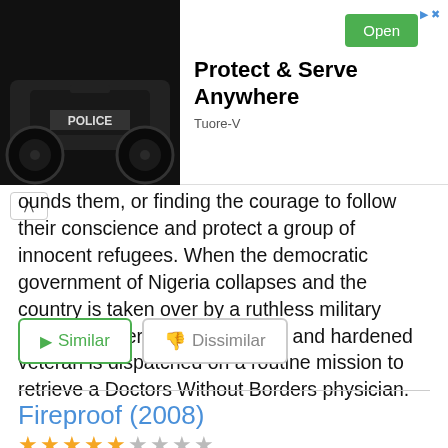[Figure (screenshot): Advertisement banner for Tuore-V app showing a police RC car on the left and text 'Protect & Serve Anywhere' with a green Open button on the right]
ounds them, or finding the courage to follow their conscience and protect a group of innocent refugees. When the democratic government of Nigeria collapses and the country is taken over by a ruthless military dictator, Waters, a fiercely loyal and hardened veteran is dispatched on a routine mission to retrieve a Doctors Without Borders physician.
Similar   Dissimilar
Fireproof (2008)